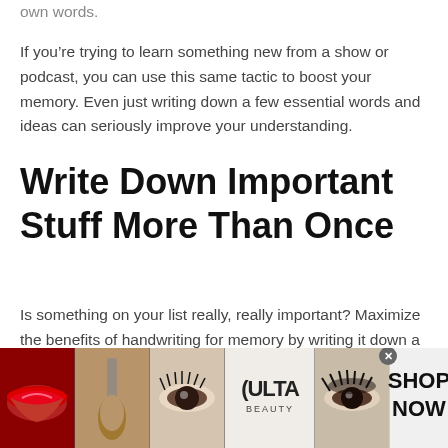own words.
If you’re trying to learn something new from a show or podcast, you can use this same tactic to boost your memory. Even just writing down a few essential words and ideas can seriously improve your understanding.
Write Down Important Stuff More Than Once
Is something on your list really, really important? Maximize the benefits of handwriting for memory by writing it down a couple of times. You can combine the
[Figure (photo): ULTA Beauty advertisement banner showing makeup images — lips with red lipstick, a makeup brush, eye with mascara, ULTA beauty logo, and eye with dramatic makeup — with SHOP NOW text on white background]